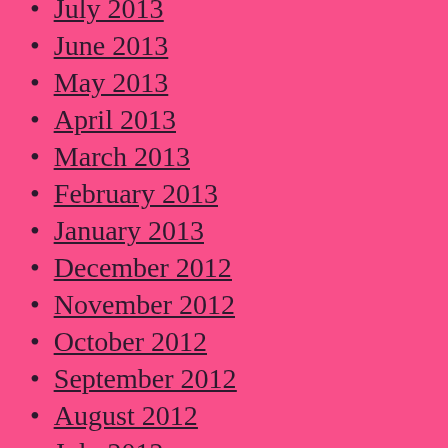July 2013
June 2013
May 2013
April 2013
March 2013
February 2013
January 2013
December 2012
November 2012
October 2012
September 2012
August 2012
July 2012
June 2012
May 2012
April 2012